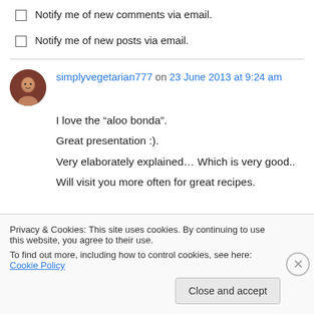Notify me of new comments via email.
Notify me of new posts via email.
simplyvegetarian777 on 23 June 2013 at 9:24 am
I love the “aloo bonda”.
Great presentation :).
Very elaborately explained… Which is very good..
Will visit you more often for great recipes.
Privacy & Cookies: This site uses cookies. By continuing to use this website, you agree to their use.
To find out more, including how to control cookies, see here: Cookie Policy